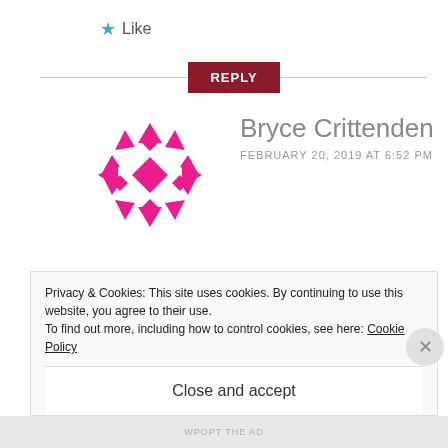★ Like
REPLY
[Figure (logo): Pink geometric snowflake/diamond pattern logo for Bryce Crittenden]
Bryce Crittenden
FEBRUARY 20, 2019 AT 6:52 PM
Thanks for this list Christian! We started a podcast here at the Edmonton Public Library last year called Overdue
Privacy & Cookies: This site uses cookies. By continuing to use this website, you agree to their use.
To find out more, including how to control cookies, see here: Cookie Policy
Close and accept